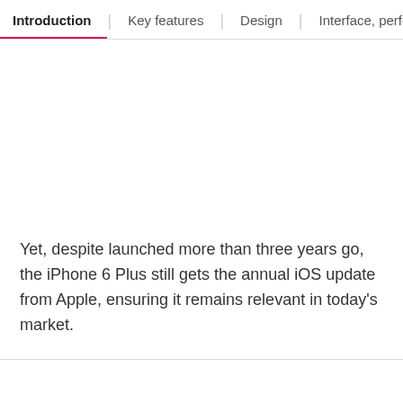Introduction | Key features | Design | Interface, performance
Yet, despite launched more than three years go, the iPhone 6 Plus still gets the annual iOS update from Apple, ensuring it remains relevant in today's market.